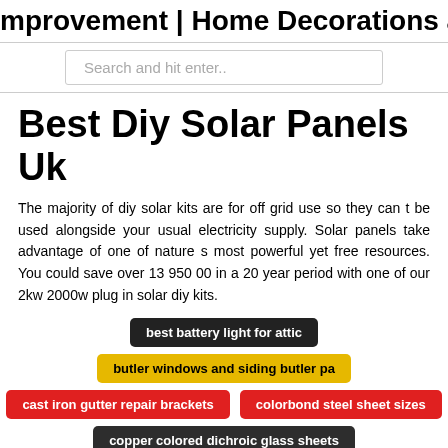mprovement | Home Decorations and
Search and hit enter..
Best Diy Solar Panels Uk
The majority of diy solar kits are for off grid use so they can t be used alongside your usual electricity supply. Solar panels take advantage of one of nature s most powerful yet free resources. You could save over 13 950 00 in a 20 year period with one of our 2kw 2000w plug in solar diy kits.
best battery light for attic
butler windows and siding butler pa
cast iron gutter repair brackets
colorbond steel sheet sizes
copper colored dichroic glass sheets
champion siding in knoxville tn
corrugated plastic sheets lexington ky
bait to trap squirrels in attic